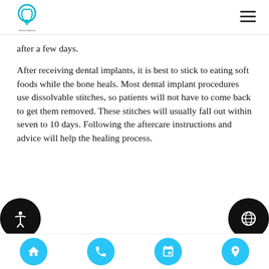[Figure (logo): Dental implant clinic logo with teal tooth/implant icon and small text below]
after a few days.
After receiving dental implants, it is best to stick to eating soft foods while the bone heals. Most dental implant procedures use dissolvable stitches, so patients will not have to come back to get them removed. These stitches will usually fall out within seven to 10 days. Following the aftercare instructions and advice will help the healing process.